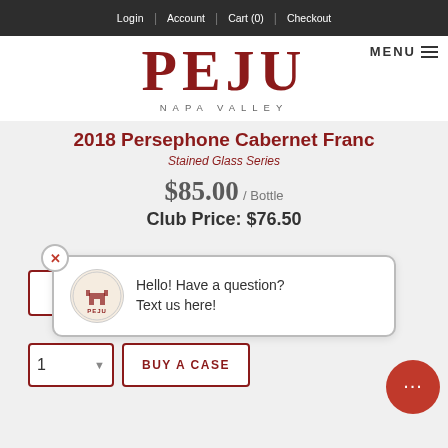Login | Account | Cart (0) | Checkout
[Figure (logo): PEJU Napa Valley logo with large serif red PEJU text and smaller NAPA VALLEY text below]
2018 Persephone Cabernet Franc
Stained Glass Series
$85.00 / Bottle
Club Price: $76.50
[Figure (screenshot): Chat popup overlay with PEJU logo icon and text: Hello! Have a question? Text us here!]
1
1  BUY A CASE